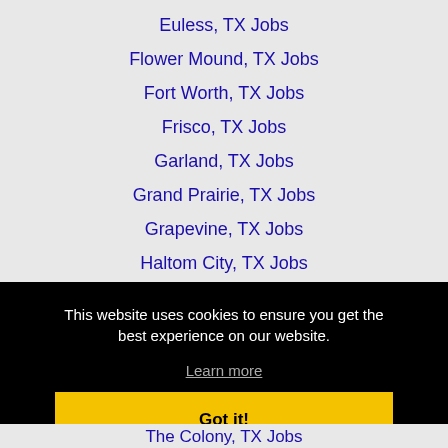Euless, TX Jobs
Flower Mound, TX Jobs
Fort Worth, TX Jobs
Frisco, TX Jobs
Garland, TX Jobs
Grand Prairie, TX Jobs
Grapevine, TX Jobs
Haltom City, TX Jobs
Irving, TX Jobs
This website uses cookies to ensure you get the best experience on our website.
Learn more
Got it!
The Colony, TX Jobs